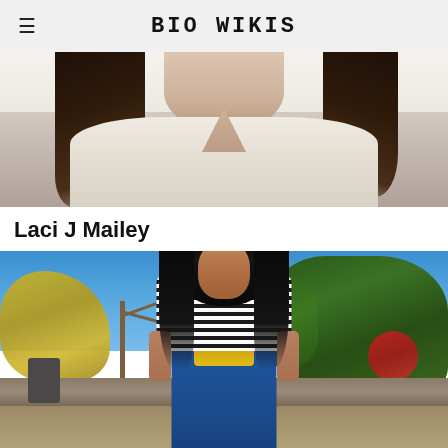BIO WIKIS
[Figure (photo): Woman with long dark brown hair wearing a cream/beige knit cardigan with V-neckline, photographed from shoulders up against a light background]
Laci J Mailey
[Figure (photo): Young woman with long dark hair wearing a striped black-and-white long sleeve shirt layered under blue denim overalls with a yellow graphic, standing outdoors in a garden/backyard setting with trees and blue sky in the background]